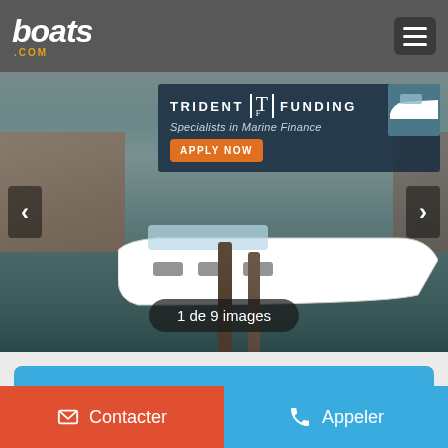boats.com
[Figure (screenshot): Mobile website screenshot of boats.com showing a white boat docked at a marina, with a Trident Funding advertisement banner at the top of the image, left and right navigation arrows, and an image counter badge showing '1 de 9 images']
Appelle maintenant
Contacter
Appeler